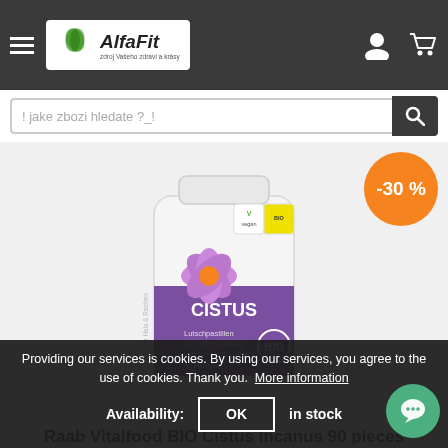AlfaFit - zdroj Vašeho zdraví a krásy
! jake zbozi hledate ?_!
[Figure (photo): Product photo of Raab Vitalfood BIO Cistus Incanus 90 pieces supplement bottle with purple flower label, with -30% orange discount badge]
Raab Vitalfood BIO Cistus Incanus 90 pieces
Raab Vitalfood BIO Cistus Incanus is recommended to support the neck and throat. It
Availability: in stock
Providing our services is cookies. By using our services, you agree to the use of cookies. Thank you. More information OK